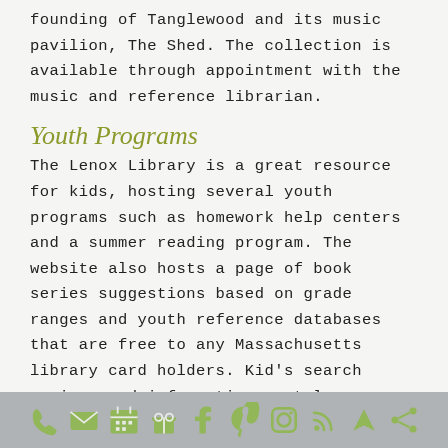founding of Tanglewood and its music pavilion, The Shed. The collection is available through appointment with the music and reference librarian.
Youth Programs
The Lenox Library is a great resource for kids, hosting several youth programs such as homework help centers and a summer reading program. The website also hosts a page of book series suggestions based on grade ranges and youth reference databases that are free to any Massachusetts library card holders. Kid's search engines and information portals are also available as wonderful resources.
Lenox Library Distinguished Lecture Series
A monthly distinguished lecture series is hosted at Lenox Library, featuring intellectuals and artists that all seek to inspire with words. The series covers a range of cultural
[social media icons: phone, email, calendar, gift, facebook, pinterest, instagram, rss, navigation, share]